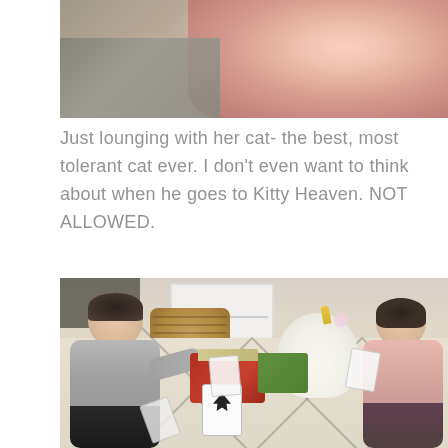[Figure (photo): Partial photo showing a child lounging with a cat, pink fluffy pillow visible at top right, gray fabric/couch on left]
Just lounging with her cat- the best, most tolerant cat ever. I don't even want to think about when he goes to Kitty Heaven. NOT ALLOWED.
[Figure (photo): Two young children sitting on a patterned rug playing with cards. A boy in gray sweatshirt on the left and a girl in pink on the right. There is a unicorn riding toy, a woven basket, and a red card game box between them. A playing card is on the floor in the foreground.]